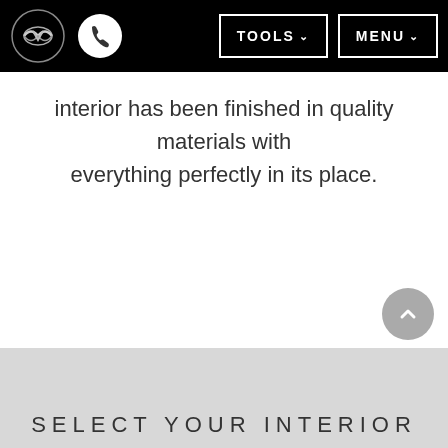[Figure (screenshot): Mazda website navigation bar with Mazda logo, phone icon, TOOLS dropdown button, and MENU dropdown button on black background]
interior has been finished in quality materials with everything perfectly in its place.
SELECT YOUR INTERIOR